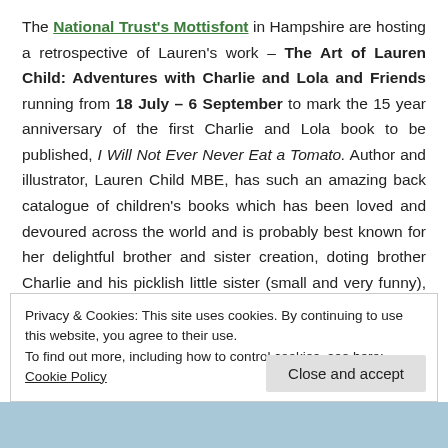The National Trust's Mottisfont in Hampshire are hosting a retrospective of Lauren's work – The Art of Lauren Child: Adventures with Charlie and Lola and Friends running from 18 July – 6 September to mark the 15 year anniversary of the first Charlie and Lola book to be published, I Will Not Ever Never Eat a Tomato. Author and illustrator, Lauren Child MBE, has such an amazing back catalogue of children's books which has been loved and devoured across the world and is probably best known for her delightful brother and sister creation, doting brother Charlie and his picklish little sister (small and very funny), Lola. Lauren seems to have that uncanny knack for being able to slip into the shoes
Privacy & Cookies: This site uses cookies. By continuing to use this website, you agree to their use.
To find out more, including how to control cookies, see here: Cookie Policy
Close and accept